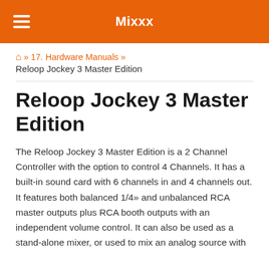Mixxx
🏠 » 17. Hardware Manuals » Reloop Jockey 3 Master Edition
Reloop Jockey 3 Master Edition
The Reloop Jockey 3 Master Edition is a 2 Channel Controller with the option to control 4 Channels. It has a built-in sound card with 6 channels in and 4 channels out. It features both balanced 1/4» and unbalanced RCA master outputs plus RCA booth outputs with an independent volume control. It can also be used as a stand-alone mixer, or used to mix an analog source with